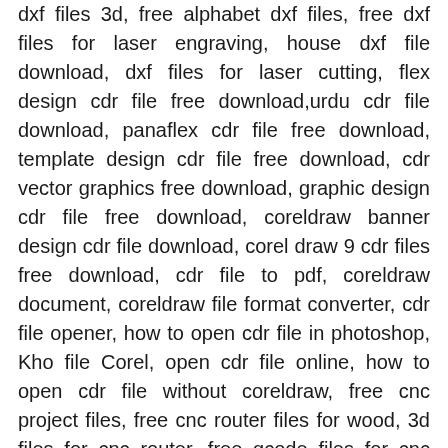dxf files 3d, free alphabet dxf files, free dxf files for laser engraving, house dxf file download, dxf files for laser cutting, flex design cdr file free download,urdu cdr file download, panaflex cdr file free download, template design cdr file free download, cdr vector graphics free download, graphic design cdr file free download, coreldraw banner design cdr file download, corel draw 9 cdr files free download, cdr file to pdf, coreldraw document, coreldraw file format converter, cdr file opener, how to open cdr file in photoshop, Kho file Corel, open cdr file online, how to open cdr file without coreldraw, free cnc project files, free cnc router files for wood, 3d files for cnc router, free gcode files for cnc router, svg files for cnc router, free dxf files for cnc router, cnc router dxf files for sale, 3d router files, Download file 3d CNC, free 3d cnc files, 3d model to cnc, free 3d carving files, 3d cnc files for sale, stl files for cnc, free cnc models, cnc stl files for sale, free 3d models obj, 3d model download, free 3d models blender, free 3d model sites, 3d max model free download architecture, high quality 3d models free